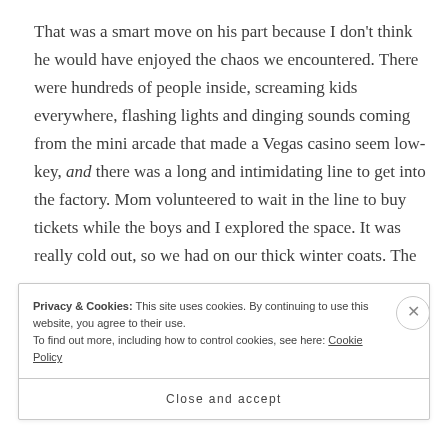That was a smart move on his part because I don't think he would have enjoyed the chaos we encountered. There were hundreds of people inside, screaming kids everywhere, flashing lights and dinging sounds coming from the mini arcade that made a Vegas casino seem low-key, and there was a long and intimidating line to get into the factory. Mom volunteered to wait in the line to buy tickets while the boys and I explored the space. It was really cold out, so we had on our thick winter coats. The
Privacy & Cookies: This site uses cookies. By continuing to use this website, you agree to their use.
To find out more, including how to control cookies, see here: Cookie Policy
Close and accept